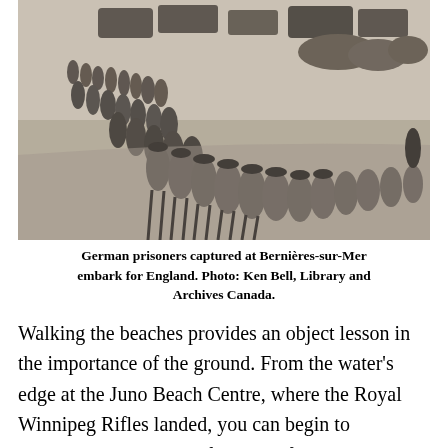[Figure (photo): Black and white photograph of a long column of German prisoners of war marching along a beach road, with military vehicles and armed guards visible in the background. The prisoners are walking in formation away from the camera.]
German prisoners captured at Bernières-sur-Mer embark for England. Photo: Ken Bell, Library and Archives Canada.
Walking the beaches provides an object lesson in the importance of the ground. From the water's edge at the Juno Beach Centre, where the Royal Winnipeg Rifles landed, you can begin to understand the varying fortunes of the assault forces on D-Day. C Company of the Canadian